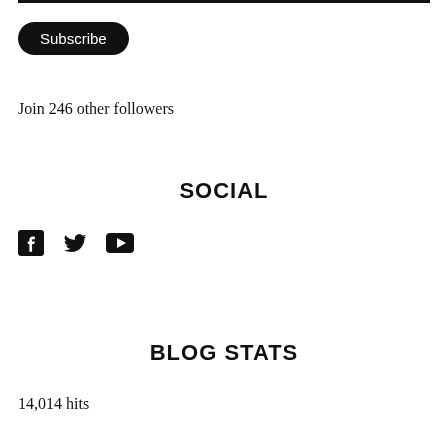[Figure (other): Subscribe button — black rounded pill button with white text]
Join 246 other followers
SOCIAL
[Figure (other): Social media icons: Facebook, Twitter, YouTube]
BLOG STATS
14,014 hits